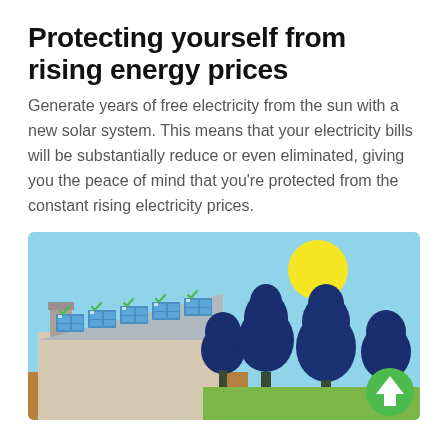Protecting yourself from rising energy prices
Generate years of free electricity from the sun with a new solar system. This means that your electricity bills will be substantially reduce or even eliminated, giving you the peace of mind that you’re protected from the constant rising electricity prices.
[Figure (illustration): Illustration of a house with solar panels on the roof showing green checkmarks, dark blue stylized trees, a bright yellow sun in a light blue sky, and a green circular arrow-up icon in the bottom right corner.]